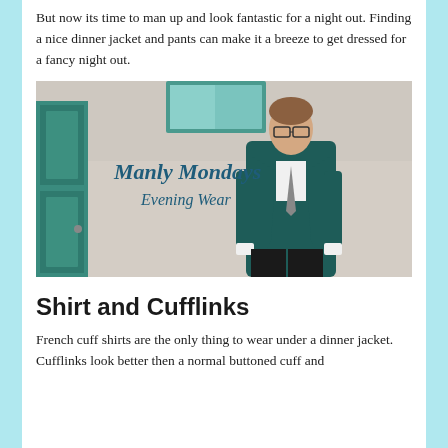But now its time to man up and look fantastic for a night out. Finding a nice dinner jacket and pants can make it a breeze to get dressed for a fancy night out.
[Figure (photo): A man in a teal dinner jacket, white shirt and grey tie standing in front of a light-colored wall with the text 'Manly Mondays Evening Wear' painted on it in teal script. A teal door is visible on the left side.]
Shirt and Cufflinks
French cuff shirts are the only thing to wear under a dinner jacket. Cufflinks look better then a normal buttoned cuff and